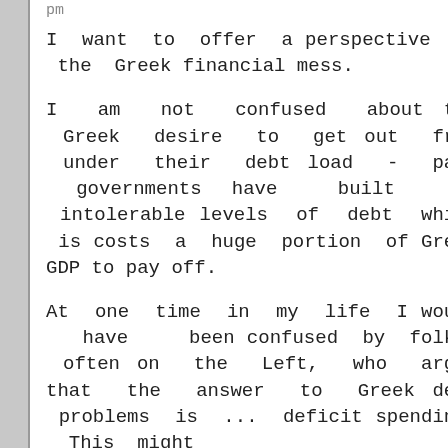pm
I want to offer a perspective on the Greek financial mess.
I am not confused about the Greek desire to get out from under their debt load - past governments have built up intolerable levels of debt which is costs a huge portion of Greek GDP to pay off.
At one time in my life I would have been confused by folks, often on the Left, who argue that the answer to Greek debt problems is ... deficit spending. This might